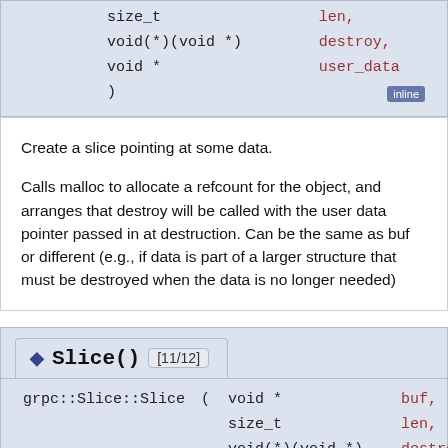grpc::Slice::Slice ( void *  buf, size_t  len, void(*)(void *)  destroy, void *  user_data ) inline
Create a slice pointing at some data.

Calls malloc to allocate a refcount for the object, and arranges that destroy will be called with the user data pointer passed in at destruction. Can be the same as buf or different (e.g., if data is part of a larger structure that must be destroyed when the data is no longer needed)
◆ Slice() [11/12]

grpc::Slice::Slice ( void *  buf, size_t  len, void(*)(void *)  destroy,